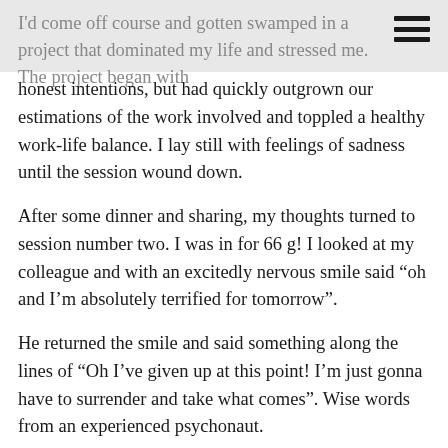I'd come off course and gotten swamped in a project that dominated my life and stressed me.
The project began with honest intentions, but had quickly outgrown our estimations of the work involved and toppled a healthy work-life balance. I lay still with feelings of sadness until the session wound down.
After some dinner and sharing, my thoughts turned to session number two. I was in for 66 g! I looked at my colleague and with an excitedly nervous smile said “oh and I’m absolutely terrified for tomorrow”.
He returned the smile and said something along the lines of “Oh I’ve given up at this point! I’m just gonna have to surrender and take what comes”. Wise words from an experienced psychonaut.
Day two’s session was predictably intense for both of us. There were plenty of bumps on the road but we both came out the other side ultimately grateful for the experience. Discussing the tolerance, we laughed at the fact that there didn’t really seem to